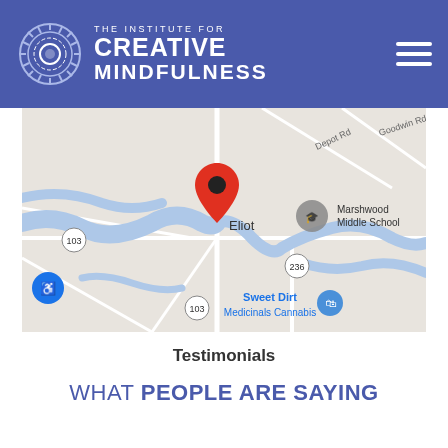THE INSTITUTE FOR CREATIVE MINDFULNESS
[Figure (map): Google Maps screenshot showing Eliot, Maine area with a red location pin dropped on Eliot. Nearby labels include Marshwood Middle School, Sweet Dirt Medicinals Cannabis, route markers 103 and 236, Depot Rd, and Goodwin Rd. Blue water features (rivers) visible across the map.]
Testimonials
WHAT PEOPLE ARE SAYING